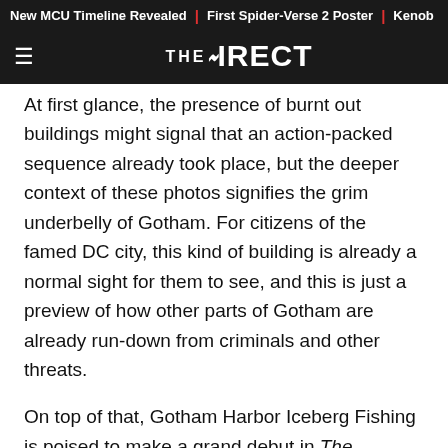New MCU Timeline Revealed | First Spider-Verse 2 Poster | Kenob
THE DIRECT
At first glance, the presence of burnt out buildings might signal that an action-packed sequence already took place, but the deeper context of these photos signifies the grim underbelly of Gotham. For citizens of the famed DC city, this kind of building is already a normal sight for them to see, and this is just a preview of how other parts of Gotham are already run-down from criminals and other threats.
On top of that, Gotham Harbor Iceberg Fishing is poised to make a grand debut in The Batman, and this location could eventually play a major part in terms of fleshing out Penguin's